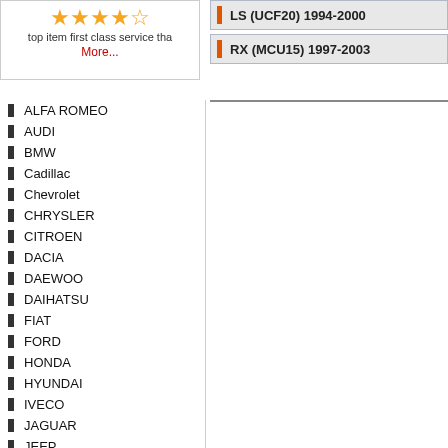★★★★☆
top item first class service tha
More...
LS (UCF20) 1994-2000
RX (MCU15) 1997-2003
ALFA ROMEO
AUDI
BMW
Cadillac
Chevrolet
CHRYSLER
CITROEN
DACIA
DAEWOO
DAIHATSU
FIAT
FORD
HONDA
HYUNDAI
IVECO
JAGUAR
JEEP
KIA
LANCIA